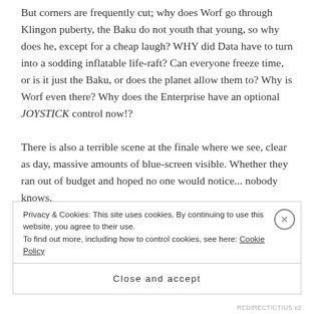But corners are frequently cut; why does Worf go through Klingon puberty, the Baku do not youth that young, so why does he, except for a cheap laugh? WHY did Data have to turn into a sodding inflatable life-raft? Can everyone freeze time, or is it just the Baku, or does the planet allow them to? Why is Worf even there? Why does the Enterprise have an optional JOYSTICK control now!?
There is also a terrible scene at the finale where we see, clear as day, massive amounts of blue-screen visible. Whether they ran out of budget and hoped no one would notice... nobody knows.
Privacy & Cookies: This site uses cookies. By continuing to use this website, you agree to their use.
To find out more, including how to control cookies, see here: Cookie Policy
Close and accept